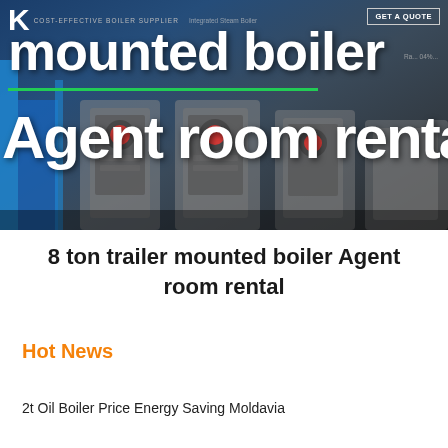[Figure (photo): Hero banner image showing trailer mounted industrial boilers against a dark blue/grey background, with white bold text overlay reading 'mounted boiler' and 'Agent room rental'. Header bar shows logo with 'K' and text 'COST-EFFECTIVE BOILER SUPPLIER', 'Integrated Steam Boiler', and a 'GET A QUOTE' button. A green underline separates the two title lines.]
8 ton trailer mounted boiler Agent room rental
Hot News
2t Oil Boiler Price Energy Saving Moldavia